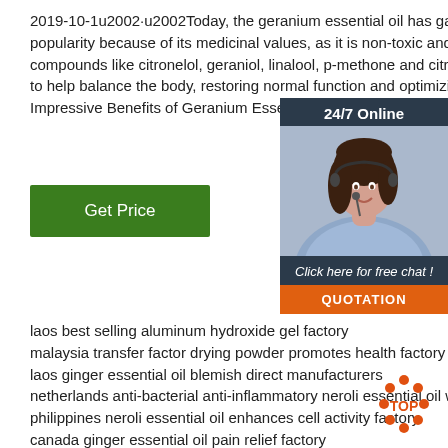2019-10-1u2002·u2002Today, the geranium essential oil has gained popularity because of its medicinal values, as it is non-toxic and it combines compounds like citronelol, geraniol, linalool, p-methone and citronellyl formate to help balance the body, restoring normal function and optimizing he... Impressive Benefits of Geranium Essential Oil. 1
[Figure (other): Customer service widget with '24/7 Online' label, photo of a woman with a headset, 'Click here for free chat!' text, and an orange QUOTATION button.]
Get Price
laos best selling aluminum hydroxide gel factory
malaysia transfer factor drying powder promotes health factory outlet
laos ginger essential oil blemish direct manufacturers
netherlands anti-bacterial anti-inflammatory neroli essential oil wholesaler
philippines neroli essential oil enhances cell activity factory
canada ginger essential oil pain relief factory